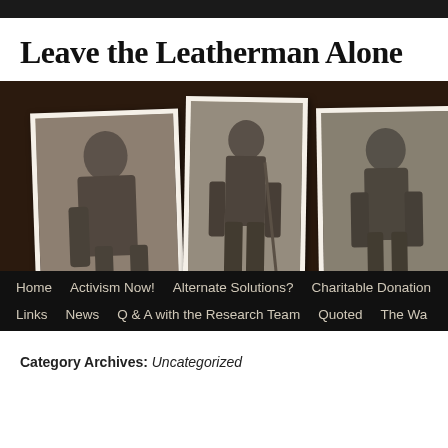Leave the Leatherman Alone
[Figure (photo): Website banner with dark brown leather-textured background showing three vintage black-and-white photographs of the Leatherman, a wandering figure from 19th century Connecticut and New York. Navigation menu below with links: Home, Activism Now!, Alternate Solutions?, Charitable Donations, Links, News, Q & A with the Research Team, Quoted, The Wa...]
Category Archives: Uncategorized